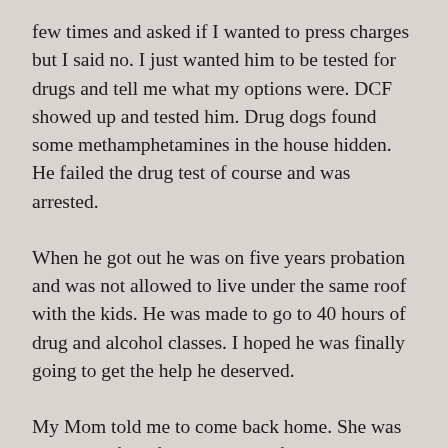few times and asked if I wanted to press charges but I said no. I just wanted him to be tested for drugs and tell me what my options were. DCF showed up and tested him. Drug dogs found some methamphetamines in the house hidden. He failed the drug test of course and was arrested.
When he got out he was on five years probation and was not allowed to live under the same roof with the kids. He was made to go to 40 hours of drug and alcohol classes. I hoped he was finally going to get the help he deserved.
My Mom told me to come back home. She was so proud of me for standing up for me and